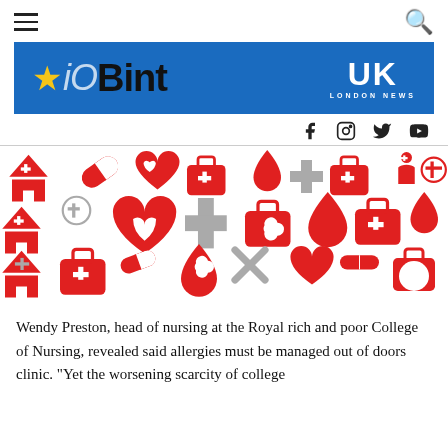[Figure (logo): iOBint UK London News logo on blue banner with star]
[Figure (illustration): Red and grey medical icons pattern including hearts, pills, first aid kits, blood drops, and plus signs on white background]
Wendy Preston, head of nursing at the Royal rich and poor College of Nursing, revealed said allergies must be managed out of doors clinic. "Yet the worsening scarcity of college